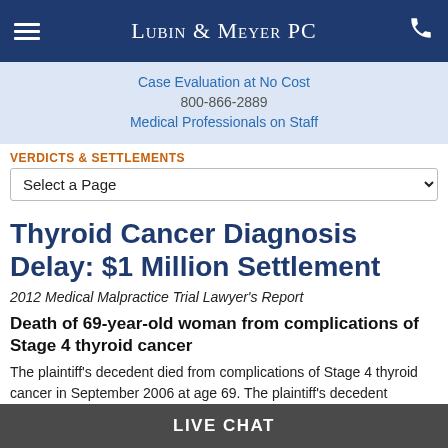Lubin & Meyer PC
Case Evaluation at No Cost
800-866-2889
Medical Professionals on Staff
VERDICTS & SETTLEMENTS
Select a Page
Thyroid Cancer Diagnosis Delay: $1 Million Settlement
2012 Medical Malpractice Trial Lawyer's Report
Death of 69-year-old woman from complications of Stage 4 thyroid cancer
The plaintiff's decedent died from complications of Stage 4 thyroid cancer in September 2006 at age 69. The plaintiff's decedent
LIVE CHAT